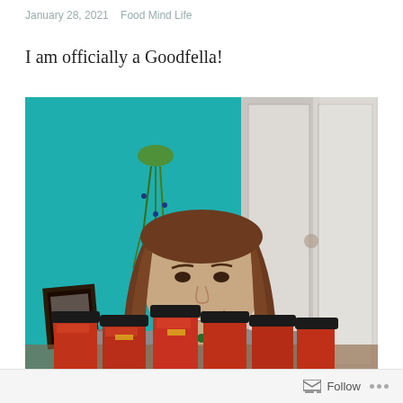January 28, 2021   Food Mind Life
I am officially a Goodfella!
[Figure (photo): A smiling woman with long brown hair wearing a gray sweatshirt, seated in front of a teal wall with wall art and decorations, with jars of red sauce in front of her and a sliding glass door visible on the right.]
Follow